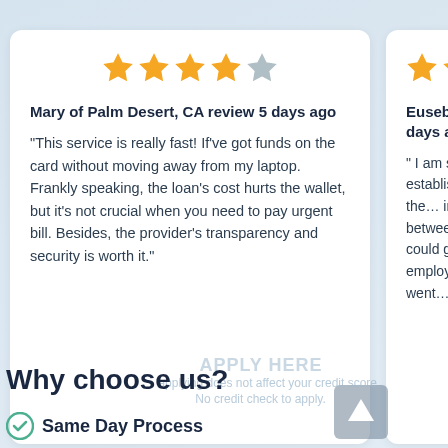[Figure (other): Review card for Mary of Palm Desert, CA with 4 out of 5 stars rating, review text about fast service]
[Figure (other): Partial review card for Eusebio of Toney, AL with approximately 3.5 out of 5 stars, partially visible review text]
Why choose us?
Same Day Process